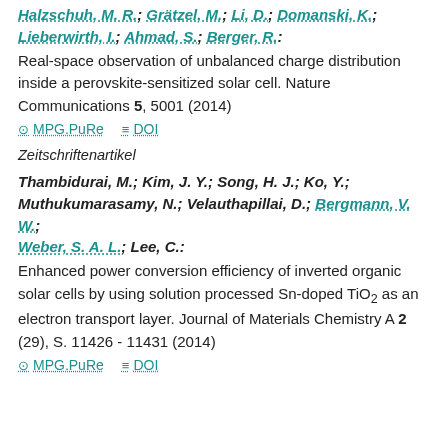Halzschuh, M. R.; Grätzel, M.; Li, D.; Domanski, K.; Lieberwirth, I.; Ahmad, S.; Berger, R.: Real-space observation of unbalanced charge distribution inside a perovskite-sensitized solar cell. Nature Communications 5, 5001 (2014)
MPG.PuRe   DOI
Zeitschriftenartikel
Thambidurai, M.; Kim, J. Y.; Song, H. J.; Ko, Y.; Muthukumarasamy, N.; Velauthapillai, D.; Bergmann, V. W.; Weber, S. A. L.; Lee, C.: Enhanced power conversion efficiency of inverted organic solar cells by using solution processed Sn-doped TiO2 as an electron transport layer. Journal of Materials Chemistry A 2 (29), S. 11426 - 11431 (2014)
MPG.PuRe   DOI